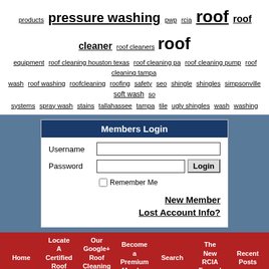products pressure washing pwp rcia roof roof cleaner roof cleaners roof equipment roof cleaning houston texas roof cleaning pa roof cleaning pump roof cleaning tampa wash roof washing roofcleaning roofing safety seo shingle shingles simpsonville soft wash systems spray wash stains tallahassee tampa tile ugly shingles wash washing
[Figure (screenshot): Members Login form with Username, Password fields, Login button, Remember Me checkbox, New Member and Lost Account Info links]
[Figure (infographic): Red navigation bar with links: Home, Locate A Certified Roof Cleaner, Our Google+ Roof Cleaning Community, Become a Premium Member, Search, The New RCIA Forum!, Recent Posts]
Our Founders Website -> Locate A Certified Roof Cleaner | Roof Cleaning Institute Of America
Posts Tagged With "goals"
"All Gave Some, Some Gave   Ideals Goals Valu